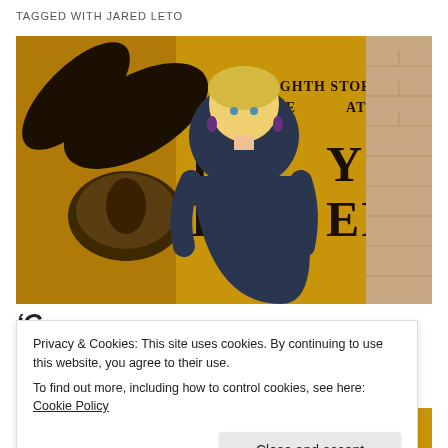TAGGED WITH JARED LETO
[Figure (photo): Woman with blonde hair in a navy dress standing in front of a Harry Potter and the Cursed Child book/poster backdrop with yellow background. Text on poster reads 'THE EIGHTH STORY. NINETEEN YEARS LATER. HARRY POTTER']
'C... ...i... ...d J.K. R... ...li... ...i...
Privacy & Cookies: This site uses cookies. By continuing to use this website, you agree to their use.
To find out more, including how to control cookies, see here: Cookie Policy
Close and accept
[Figure (photo): Bottom strip showing partial image with text NINETEEN YEARS LATER on yellow Harry Potter backdrop]